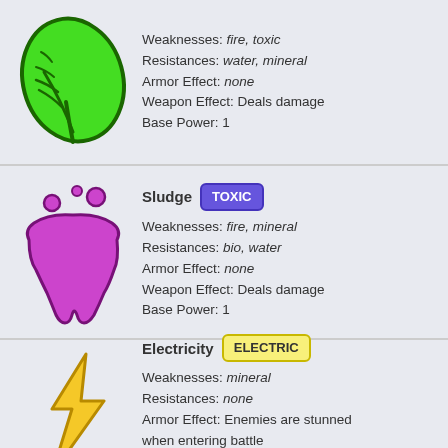[Figure (illustration): Green leaf icon]
Weaknesses: fire, toxic
Resistances: water, mineral
Armor Effect: none
Weapon Effect: Deals damage
Base Power: 1
[Figure (illustration): Purple sludge / slime creature icon]
Sludge TOXIC
Weaknesses: fire, mineral
Resistances: bio, water
Armor Effect: none
Weapon Effect: Deals damage
Base Power: 1
[Figure (illustration): Yellow lightning bolt icon]
Electricity ELECTRIC
Weaknesses: mineral
Resistances: none
Armor Effect: Enemies are stunned when entering battle
Weapon Effect: Deals damage
Base Power: 1